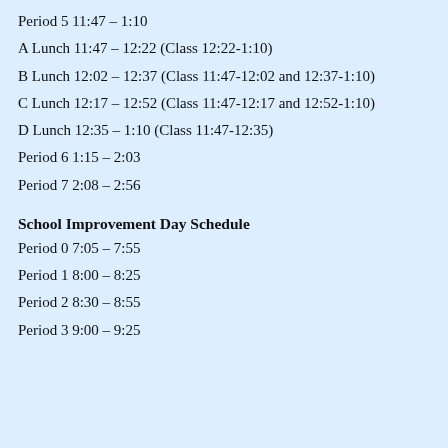Period 5 11:47 – 1:10
A Lunch 11:47 – 12:22 (Class 12:22-1:10)
B Lunch 12:02 – 12:37 (Class 11:47-12:02 and 12:37-1:10)
C Lunch 12:17 – 12:52 (Class 11:47-12:17 and 12:52-1:10)
D Lunch 12:35 – 1:10 (Class 11:47-12:35)
Period 6 1:15 – 2:03
Period 7 2:08 – 2:56
School Improvement Day Schedule
Period 0 7:05 – 7:55
Period 1 8:00 – 8:25
Period 2 8:30 – 8:55
Period 3 9:00 – 9:25